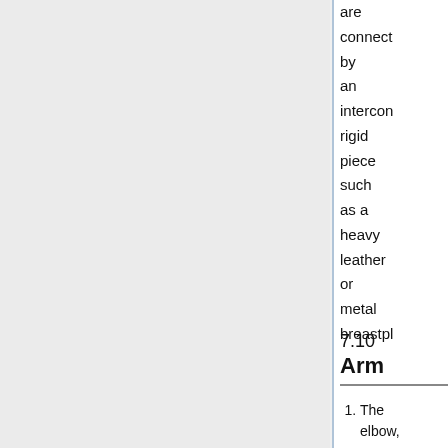are connected by an interconnecting rigid piece such as a heavy leather or metal breastplate
7.10 Arm
1. The elbow,